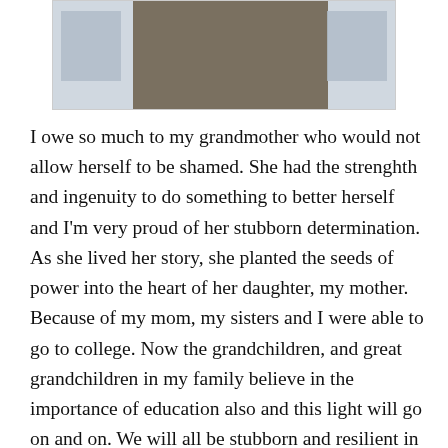[Figure (photo): Partial photograph showing a person in olive/khaki clothing, cropped at torso level, with light blue background elements on the sides]
I owe so much to my grandmother who would not allow herself to be shamed. She had the strenghth and ingenuity to do something to better herself and I'm very proud of her stubborn determination. As she lived her story, she planted the seeds of power into the heart of her daughter, my mother. Because of my mom, my sisters and I were able to go to college. Now the grandchildren, and great grandchildren in my family believe in the importance of education also and this light will go on and on. We will all be stubborn and resilient in our resolve. Thank you so much, Mom. Thank you so much, Babci (the Polish word for grandmother).